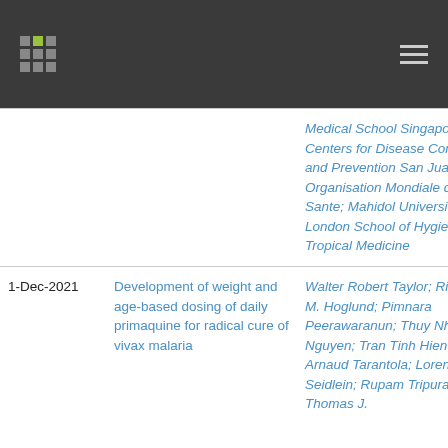Medical School Singapore; Centers for Disease Control and Prevention San Juan; Organisation Mondiale de la Sante; Mahidol University; London School of Hygiene &amp; Tropical Medicine
| Date | Title | Authors |
| --- | --- | --- |
| 1-Dec-2021 | Development of weight and age-based dosing of daily primaquine for radical cure of vivax malaria | Walter Robert Taylor; Richard M. Hoglund; Pimnara Peerawaranun; Thuy Nhien Nguyen; Tran Tinh Hien; Arnaud Tarantola; Lorenz von Seidlein; Rupam Tripura; Thomas J. |